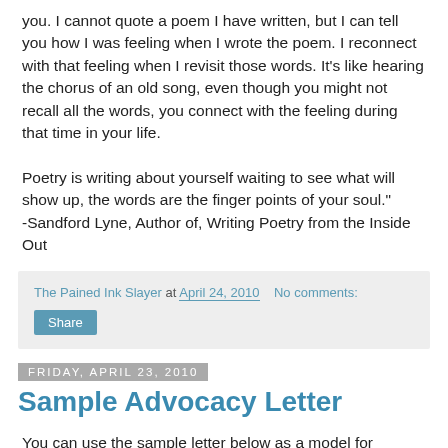you. I cannot quote a poem I have written, but I can tell you how I was feeling when I wrote the poem. I reconnect with that feeling when I revisit those words. It's like hearing the chorus of an old song, even though you might not recall all the words, you connect with the feeling during that time in your life.
Poetry is writing about yourself waiting to see what will show up, the words are the finger points of your soul."
-Sandford Lyne, Author of, Writing Poetry from the Inside Out
The Pained Ink Slayer at April 24, 2010    No comments:
Share
Friday, April 23, 2010
Sample Advocacy Letter
You can use the sample letter below as a model for personal advocacy letters
to send to elected representatives, members of health